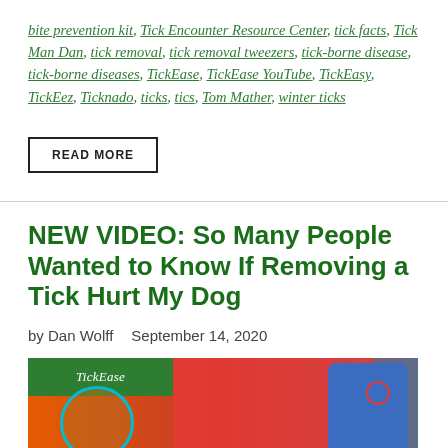bite prevention kit, Tick Encounter Resource Center, tick facts, Tick Man Dan, tick removal, tick removal tweezers, tick-borne disease, tick-borne diseases, TickEase, TickEase YouTube, TickEasy, TickEez, Ticknado, ticks, tics, Tom Mather, winter ticks
READ MORE
NEW VIDEO: So Many People Wanted to Know If Removing a Tick Hurt My Dog
by Dan Wolff   September 14, 2020
[Figure (photo): Thumbnail image showing a TickEase branded green box, a dog and a person in a blue shirt, with a red background and circle overlays.]